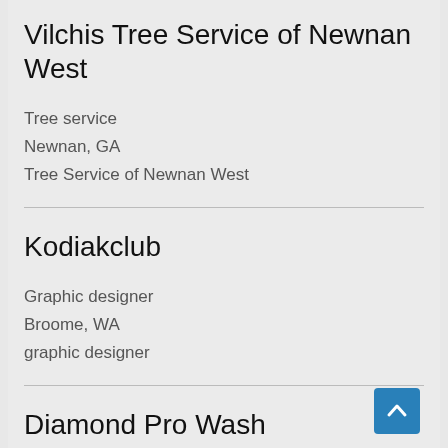Vilchis Tree Service of Newnan West
Tree service
Newnan, GA
Tree Service of Newnan West
Kodiakclub
Graphic designer
Broome, WA
graphic designer
Diamond Pro Wash
Pressure washing service